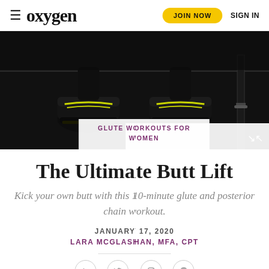oxygen | JOIN NOW | SIGN IN
[Figure (photo): Close-up of a person in workout shoes doing a push-up or plank on a dark gym floor with equipment visible]
GLUTE WORKOUTS FOR WOMEN
The Ultimate Butt Lift
Kick your own butt with this 10-minute glute and posterior chain workout.
JANUARY 17, 2020
LARA MCGLASHAN, MFA, CPT